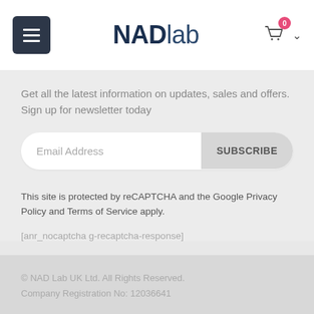[Figure (logo): NADlab logo with hamburger menu button on left and cart icon on right in a white header bar]
Get all the latest information on updates, sales and offers. Sign up for newsletter today
[Figure (other): Email address input field with SUBSCRIBE button]
This site is protected by reCAPTCHA and the Google Privacy Policy and Terms of Service apply.
[anr_nocaptcha g-recaptcha-response]
© NAD Lab UK Ltd. All Rights Reserved.
Company Registration No: 12036641